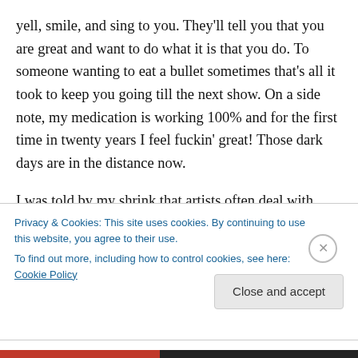yell, smile, and sing to you. They'll tell you that you are great and want to do what it is that you do. To someone wanting to eat a bullet sometimes that's all it took to keep you going till the next show. On a side note, my medication is working 100% and for the first time in twenty years I feel fuckin' great! Those dark days are in the distance now.
I was told by my shrink that artists often deal with depression. I guess we wear our hearts on our sleeves and that's where we pull from to be creative. It's a bitch to
Privacy & Cookies: This site uses cookies. By continuing to use this website, you agree to their use.
To find out more, including how to control cookies, see here: Cookie Policy